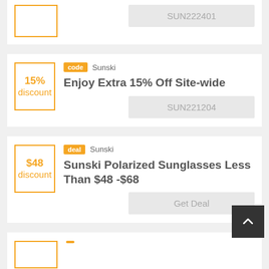[Figure (screenshot): Partial coupon card at top showing a yellow-bordered discount box and code SUN222401]
SUN222401
[Figure (screenshot): Coupon card: code badge, Sunski brand, 15% discount, Enjoy Extra 15% Off Site-wide, code SUN221204]
code  Sunski
Enjoy Extra 15% Off Site-wide
SUN221204
[Figure (screenshot): Coupon card: deal badge, Sunski brand, $48 discount, Sunski Polarized Sunglasses Less Than $48 -$68, Get Deal button]
deal  Sunski
Sunski Polarized Sunglasses Less Than $48 -$68
Get Deal
[Figure (screenshot): Partial coupon card at bottom showing yellow-bordered box and partial badge]